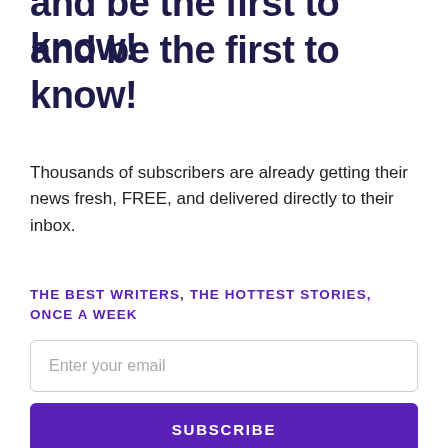and be the first to know!
Thousands of subscribers are already getting their news fresh, FREE, and delivered directly to their inbox.
THE BEST WRITERS, THE HOTTEST STORIES, ONCE A WEEK
Enter your email
SUBSCRIBE
We value your privacy, your email address is safe with us.